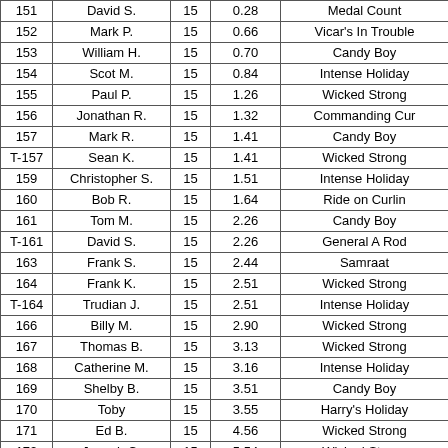| 151 | David S. | 15 | 0.28 | Medal Count |
| 152 | Mark P. | 15 | 0.66 | Vicar's In Trouble |
| 153 | William H. | 15 | 0.70 | Candy Boy |
| 154 | Scot M. | 15 | 0.84 | Intense Holiday |
| 155 | Paul P. | 15 | 1.26 | Wicked Strong |
| 156 | Jonathan R. | 15 | 1.32 | Commanding Cur |
| 157 | Mark R. | 15 | 1.41 | Candy Boy |
| T-157 | Sean K. | 15 | 1.41 | Wicked Strong |
| 159 | Christopher S. | 15 | 1.51 | Intense Holiday |
| 160 | Bob R. | 15 | 1.64 | Ride on Curlin |
| 161 | Tom M. | 15 | 2.26 | Candy Boy |
| T-161 | David S. | 15 | 2.26 | General A Rod |
| 163 | Frank S. | 15 | 2.44 | Samraat |
| 164 | Frank K. | 15 | 2.51 | Wicked Strong |
| T-164 | Trudian J. | 15 | 2.51 | Intense Holiday |
| 166 | Billy M. | 15 | 2.90 | Wicked Strong |
| 167 | Thomas B. | 15 | 3.13 | Wicked Strong |
| 168 | Catherine M. | 15 | 3.16 | Intense Holiday |
| 169 | Shelby B. | 15 | 3.51 | Candy Boy |
| 170 | Toby | 15 | 3.55 | Harry's Holiday |
| 171 | Ed B. | 15 | 4.56 | Wicked Strong |
| 172 | Joseph C. | 15 | 5.54 | Wicked Strong |
| 173 | Richard S. | 10 | 0.16 | Dance With Fate |
| 174 | Ryan S. | 10 | 0.31 | Samraat |
| 175 | Bernard B. | 10 | 0.48 | Dance With Fate |